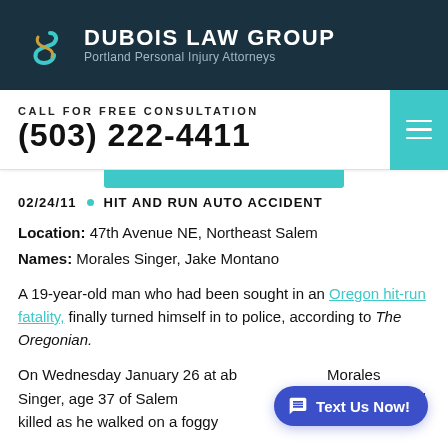DUBOIS LAW GROUP — Portland Personal Injury Attorneys
CALL FOR FREE CONSULTATION
(503) 222-4411
02/24/11 • HIT AND RUN AUTO ACCIDENT
Location: 47th Avenue NE, Northeast Salem
Names: Morales Singer, Jake Montano
A 19-year-old man who had been sought in an Oregon hit-run fatality, finally turned himself in to police, according to The Oregonian.
On Wednesday January 26 at ab... Morales Singer, age 37 of Salem ... three, was struck and killed as he walked on a foggy